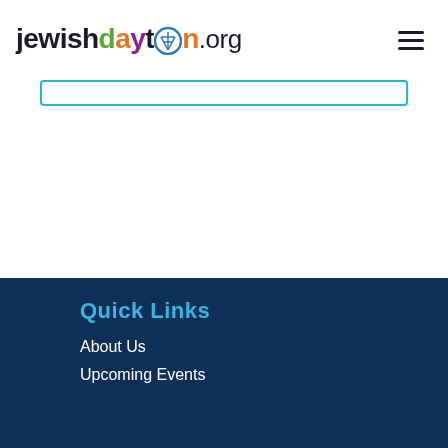jewishdayton.org
Quick Links
About Us
Upcoming Events